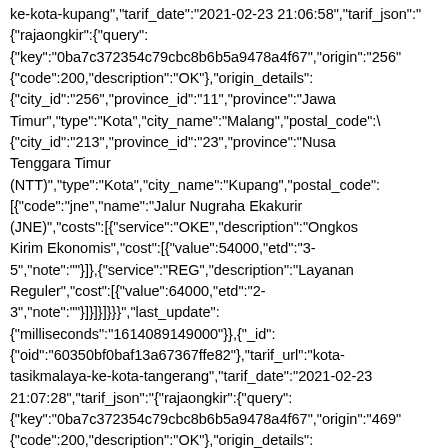ke-kota-kupang","tarif_date":"2021-02-23 21:06:58","tarif_json":"{\"rajaongkir\":{\"query\":{\"key\":\"0ba7c372354c79cbc8b6b5a9478a4f67\",\"origin\":\"256\"}{\"code\":200,\"description\":\"OK\"},\"origin_details\":{\"city_id\":\"256\",\"province_id\":\"11\",\"province\":\"Jawa Timur\",\"type\":\"Kota\",\"city_name\":\"Malang\",\"postal_code\":{\"city_id\":\"213\",\"province_id\":\"23\",\"province\":\"Nusa Tenggara Timur (NTT)\",\"type\":\"Kota\",\"city_name\":\"Kupang\",\"postal_code\":[{\"code\":\"jne\",\"name\":\"Jalur Nugraha Ekakurir (JNE)\",\"costs\":[{\"service\":\"OKE\",\"description\":\"Ongkos Kirim Ekonomis\",\"cost\":[{\"value\":54000,\"etd\":\"3-5\",\"note\":\"\"}]},{\"service\":\"REG\",\"description\":\"Layanan Reguler\",\"cost\":[{\"value\":64000,\"etd\":\"2-3\",\"note\":\"\"}]}]}]}}}" ,"last_update":{"milliseconds":"1614089149000"}},{"_id":{"oid":"60350bf0baf13a67367ffe82"},"tarif_url":"kota-tasikmalaya-ke-kota-tangerang","tarif_date":"2021-02-23 21:07:28","tarif_json":"{\"rajaongkir\":{\"query\":{\"key\":\"0ba7c372354c79cbc8b6b5a9478a4f67\",\"origin\":\"469\"}{\"code\":200,\"description\":\"OK\"},\"origin_details\":{\"city_id\":\"469\",\"province_id\":\"9\",\"province\":\"Jawa Barat\",\"type\":\"Kota\",\"city_name\":\"Tasikmalaya\",\"postal_cod{\"city_id\":\"456\",\"province_id\":\"3\",\"province\":\"Banten\",\"ty[{\"code\":\"jne\",\"name\":\"Jalur Nugraha Ekakurir (JNE)\",\"costs\":[{\"service\":\"OKE\",\"description\":\"Ongkos